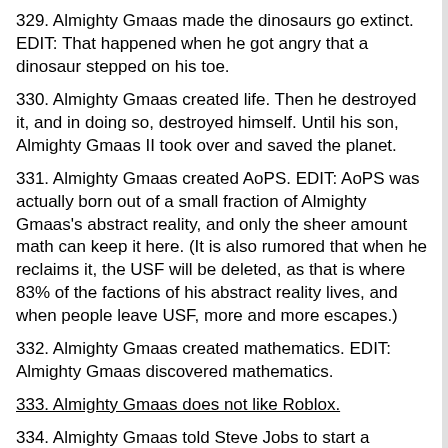329. Almighty Gmaas made the dinosaurs go extinct. EDIT: That happened when he got angry that a dinosaur stepped on his toe.
330. Almighty Gmaas created life. Then he destroyed it, and in doing so, destroyed himself. Until his son, Almighty Gmaas II took over and saved the planet.
331. Almighty Gmaas created AoPS. EDIT: AoPS was actually born out of a small fraction of Almighty Gmaas's abstract reality, and only the sheer amount math can keep it here. (It is also rumored that when he reclaims it, the USF will be deleted, as that is where 83% of the factions of his abstract reality lives, and when people leave USF, more and more escapes.)
332. Almighty Gmaas created mathematics. EDIT: Almighty Gmaas discovered mathematics.
333. Almighty Gmaas does not like Roblox.
334. Almighty Gmaas told Steve Jobs to start a company.
335. Almighty Gmaas inveThis article was raided because its spamThis article was raided because its spamThis article